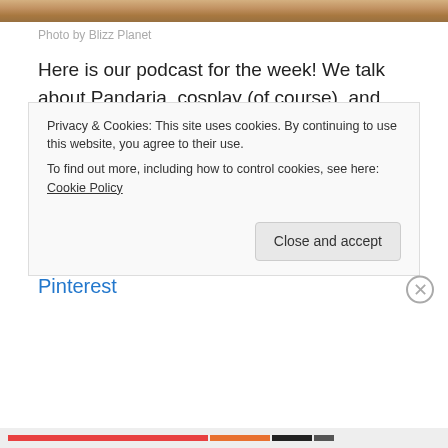[Figure (photo): Partial photo strip at top of page showing a warm-toned surface (appears to be wood/flooring)]
Photo by Blizz Planet
Here is our podcast for the week! We talk about Pandaria, cosplay (of course), and fiberglassing!
Click here to listen!
Wind of the Stars Cosplay page, and Youtube page!
Tap Plastics
Pinterest
Privacy & Cookies: This site uses cookies. By continuing to use this website, you agree to their use.
To find out more, including how to control cookies, see here: Cookie Policy